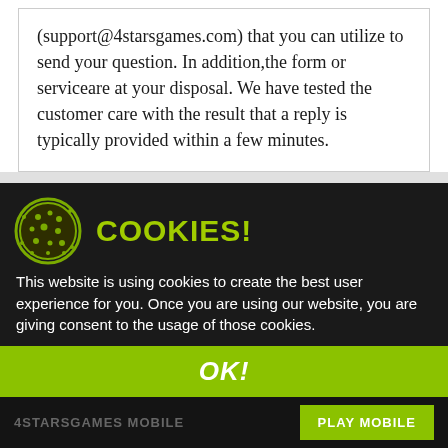(support@4starsgames.com) that you can utilize to send your question. In addition,the form or serviceare at your disposal. We have tested the customer care with the result that a reply is typically provided within a few minutes.
CUSTOMER SUPPORT
[Figure (screenshot): Cookie consent banner with green cookie icon, 'COOKIES!' title, cookie usage message, OK! button, and 4StarGames Mobile bar with Play Mobile button. Behind it: dark background with email support and live chat available icons.]
This website is using cookies to create the best user experience for you. Once you are using our website, you are giving consent to the usage of those cookies.